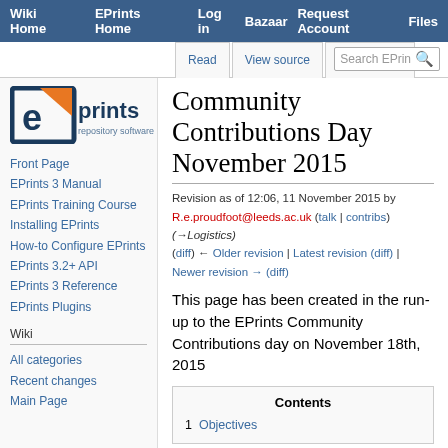Wiki Home | EPrints Home | Log in | Bazaar | Request Account | Files
Read | View source | View history | Search EPrints
[Figure (logo): EPrints repository software logo - square bracket e with orange arrow, dark blue text]
Front Page
EPrints 3 Manual
EPrints Training Course
Installing EPrints
How-to Configure EPrints
EPrints 3.2+ API
EPrints 3 Reference
EPrints Plugins
Wiki
All categories
Recent changes
Main Page
Community Contributions Day November 2015
Revision as of 12:06, 11 November 2015 by R.e.proudfoot@leeds.ac.uk (talk | contribs) (→Logistics) (diff) ← Older revision | Latest revision (diff) | Newer revision → (diff)
This page has been created in the run-up to the EPrints Community Contributions day on November 18th, 2015
Contents
1 Objectives